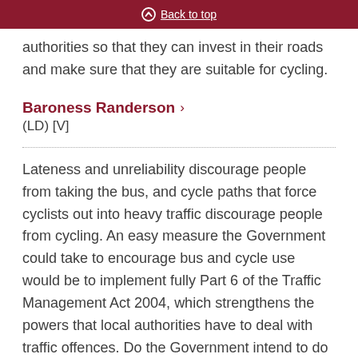Back to top
authorities so that they can invest in their roads and make sure that they are suitable for cycling.
Baroness Randerson
(LD) [V]
Lateness and unreliability discourage people from taking the bus, and cycle paths that force cyclists out into heavy traffic discourage people from cycling. An easy measure the Government could take to encourage bus and cycle use would be to implement fully Part 6 of the Traffic Management Act 2004, which strengthens the powers that local authorities have to deal with traffic offences. Do the Government intend to do this and, if not, why not?